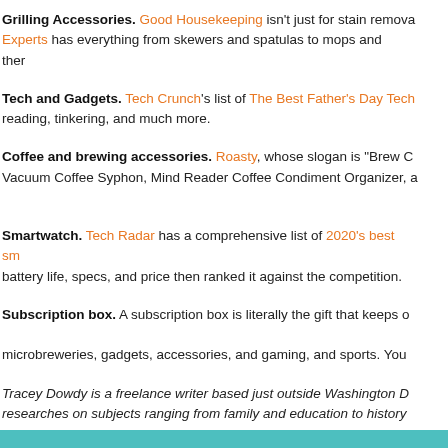Grilling Accessories. Good Housekeeping isn't just for stain removal. Experts has everything from skewers and spatulas to mops and thermometers.
Tech and Gadgets. Tech Crunch's list of The Best Father's Day Tech reading, tinkering, and much more.
Coffee and brewing accessories. Roasty, whose slogan is "Brew C Vacuum Coffee Syphon, Mind Reader Coffee Condiment Organizer, and more.
Smartwatch. Tech Radar has a comprehensive list of 2020's best smartwatches battery life, specs, and price then ranked it against the competition.
Subscription box. A subscription box is literally the gift that keeps on giving. microbreweries, gadgets, accessories, and gaming, and sports. You...
Tracey Dowdy is a freelance writer based just outside Washington DC. researches on subjects ranging from family and education to history...